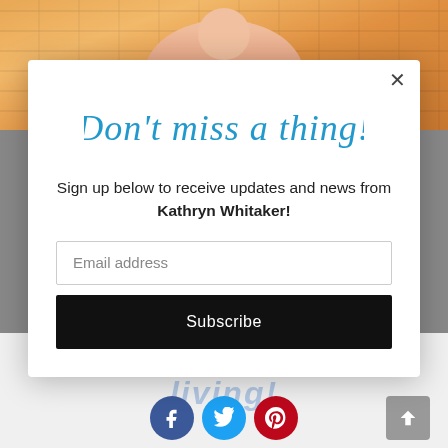[Figure (photo): Background photo of a woman in a pink/coral top standing against a yellow-orange brick wall, visible at the top of the page behind a modal popup]
Don't miss a thing!
Sign up below to receive updates and news from Kathryn Whitaker!
Email address
Subscribe
[Figure (illustration): Social media icons at the bottom: Facebook (blue circle), Twitter (light blue circle), Pinterest (red circle), and a back-to-top arrow button on the right]